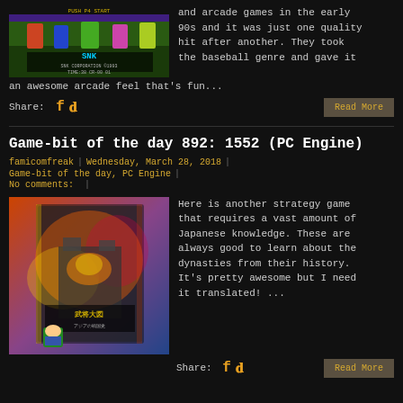[Figure (screenshot): SNK arcade baseball game screenshot showing SNK Corporation 1993 credit screen with colorful characters]
and arcade games in the early 90s and it was just one quality hit after another. They took the baseball genre and gave it an awesome arcade feel that's fun...
Share:
Read More
Game-bit of the day 892: 1552 (PC Engine)
famicomfreak | Wednesday, March 28, 2018 | Game-bit of the day, PC Engine | No comments:
[Figure (photo): Photo of PC Engine game case for 1552, colorful artwork with Japanese characters]
Here is another strategy game that requires a vast amount of Japanese knowledge. These are always good to learn about the dynasties from their history. It's pretty awesome but I need it translated! ...
Share:
Read More